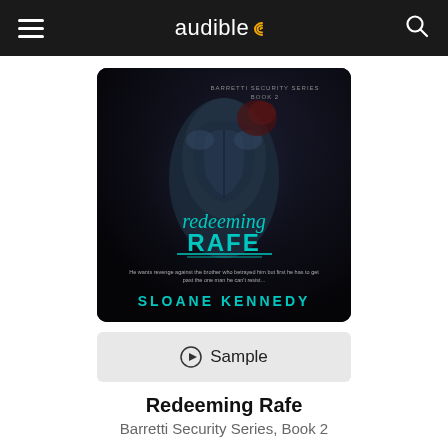audible
[Figure (illustration): Book cover for 'Redeeming Rafe' by Sloane Kennedy, Barretti Security Series Book 2. Dark cover showing a muscular figure with teal/cyan text reading 'redeeming RAFE' and author name 'SLOANE KENNEDY'.]
▶ Sample
Redeeming Rafe
Barretti Security Series, Book 2